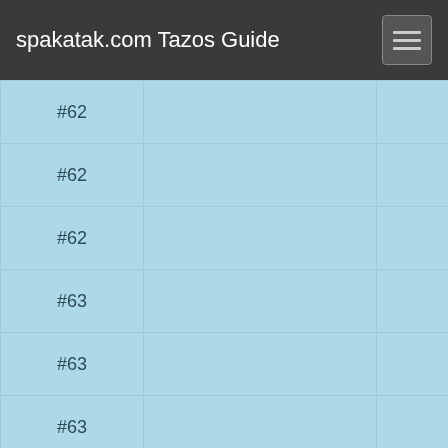spakatak.com Tazos Guide
| # |  |  |
| --- | --- | --- |
| #62 |  |  |
| #62 |  |  |
| #62 |  |  |
| #63 |  |  |
| #63 |  |  |
| #63 |  |  |